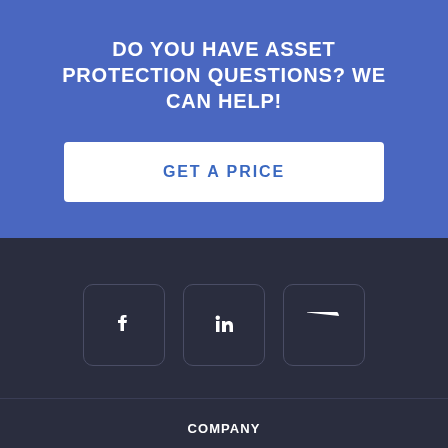DO YOU HAVE ASSET PROTECTION QUESTIONS? WE CAN HELP!
GET A PRICE
[Figure (infographic): Dark footer section with three social media icon buttons (Facebook, LinkedIn, YouTube) in rounded square outlines, a horizontal divider, a COMPANY heading, and an About link below.]
COMPANY
About